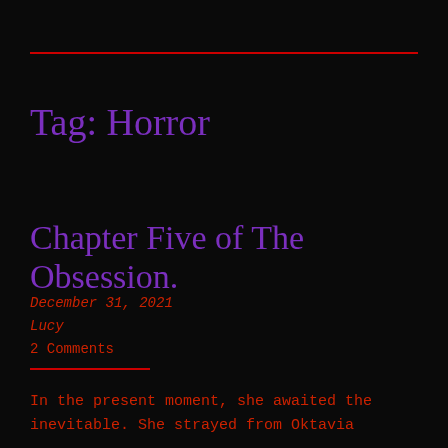Tag: Horror
Chapter Five of The Obsession.
December 31, 2021
Lucy
2 Comments
In the present moment, she awaited the inevitable. She strayed from Oktavia